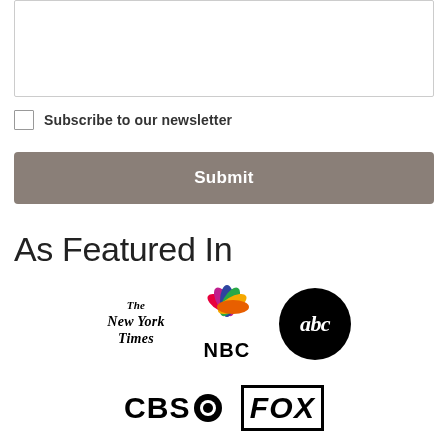[Figure (other): Text area input box (empty, with border)]
Subscribe to our newsletter
[Figure (other): Submit button with gray background and white 'Submit' text]
As Featured In
[Figure (logo): Media logos row 1: The New York Times, NBC (with peacock colors), ABC (black circle with white italic 'abc')]
[Figure (logo): Media logos row 2: CBS (with eye logo), FOX (bold italic in black border box)]